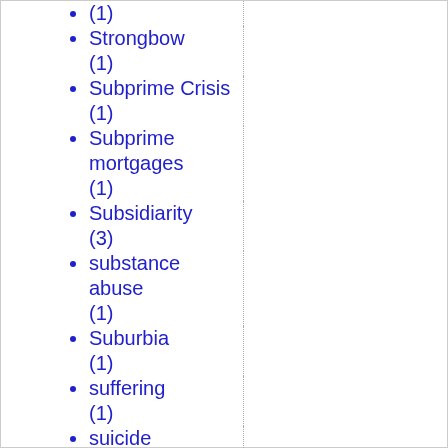(1)
Strongbow (1)
Subprime Crisis (1)
Subprime mortgages (1)
Subsidiarity (3)
substance abuse (1)
Suburbia (1)
suffering (1)
suicide (22)
Supreme Court (8)
surrogacy (1)